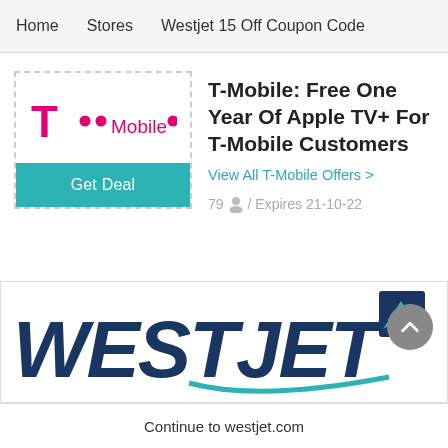Home   Stores   Westjet 15 Off Coupon Code
[Figure (logo): T-Mobile logo with magenta T and dots and Mobile text]
T-Mobile: Free One Year Of Apple TV+ For T-Mobile Customers
View All T-Mobile Offers >
79 / Expires 21-10-22
[Figure (logo): WestJet logo in dark blue and teal with airplane icon]
Continue to westjet.com